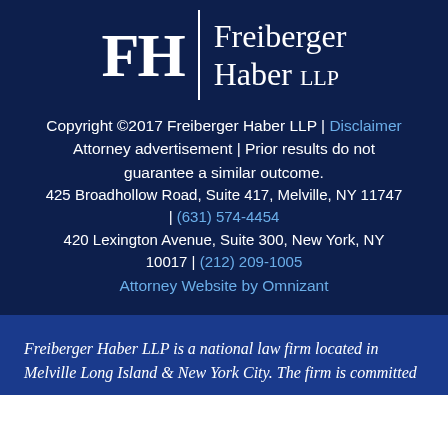[Figure (logo): Freiberger Haber LLP logo with FH monogram and vertical divider bar]
Copyright ©2017 Freiberger Haber LLP | Disclaimer
Attorney advertisement | Prior results do not guarantee a similar outcome.
425 Broadhollow Road, Suite 417, Melville, NY 11747 | (631) 574-4454
420 Lexington Avenue, Suite 300, New York, NY 10017 | (212) 209-1005
Attorney Website by Omnizant
Freiberger Haber LLP is a national law firm located in Melville Long Island & New York City. The firm is committed